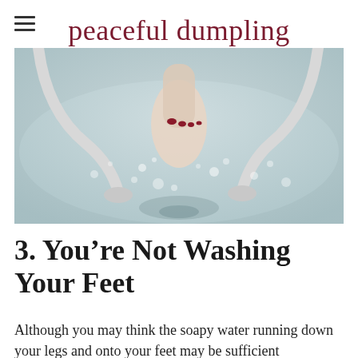peaceful dumpling
[Figure (photo): Close-up photo of a foot with red-painted toenails being washed in a bathtub filled with bubbly water, with white bathtub faucet fixtures visible.]
3. You’re Not Washing Your Feet
Although you may think the soapy water running down your legs and onto your feet may be sufficient